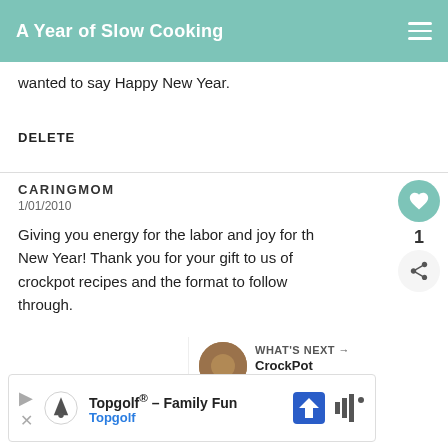A Year of Slow Cooking
wanted to say Happy New Year.
DELETE
CARINGMOM
1/01/2010
Giving you energy for the labor and joy for the New Year! Thank you for your gift to us of crockpot recipes and the format to follow through.
WHAT'S NEXT → CrockPot Black Eyed...
Topgolf® – Family Fun Topgolf